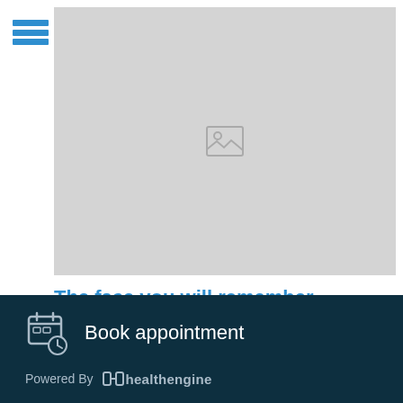[Figure (screenshot): Mobile app screenshot showing a hamburger menu icon (three blue horizontal bars) on the left and a large gray image placeholder area with a broken image icon in the center]
The face you will remember
Working from home meant we could vary snack and coffee breaks, change our desks or view, goof off,
Book appointment
Powered By healthengine